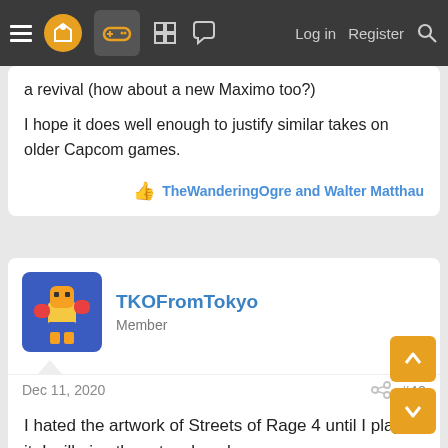Navigation bar with menu, logo, games icon, forum icons, Log in, Register, Search
a revival (how about a new Maximo too?)

I hope it does well enough to justify similar takes on older Capcom games.
TheWanderingOgre and Walter Matthau
TKOFromTokyo
Member
Dec 11, 2020
#40
I hated the artwork of Streets of Rage 4 until I played it. I will give the artwork a chance.
Madevil, Durask, HuskerfanChuck and 5 others